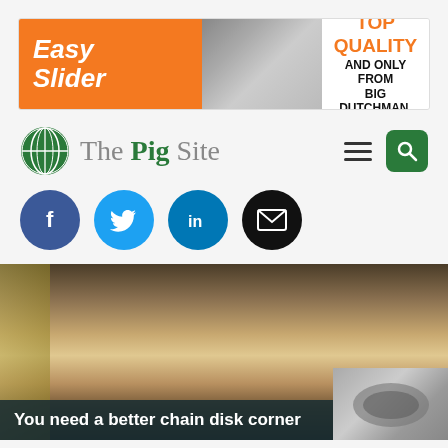[Figure (infographic): Easy Slider advertisement banner for Big Dutchman showing pigs in farming equipment with orange and white sections. Text: 'Easy Slider' and 'TOP QUALITY AND ONLY FROM BIG DUTCHMAN.']
[Figure (logo): The Pig Site logo with green globe icon, site name in serif font, hamburger menu icon, and green search button on the right]
[Figure (infographic): Social media share icons row: Facebook (dark blue), Twitter (light blue), LinkedIn (blue), Email (black) — all circular]
[Figure (photo): Hero image of pigs hanging in what appears to be a slaughterhouse or meat processing facility, with a dark teal overlay caption bar reading 'You need a better chain disk corner']